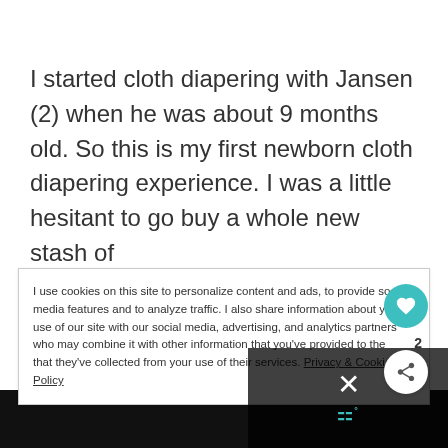I started cloth diapering with Jansen (2) when he was about 9 months old. So this is my first newborn cloth diapering experience. I was a little hesitant to go buy a whole new stash of
I use cookies on this site to personalize content and ads, to provide social media features and to analyze traffic. I also share information about your use of our site with our social media, advertising, and analytics partners who may combine it with other information that you've provided to the that they've collected from your use of their services. Privacy & Cookie Policy